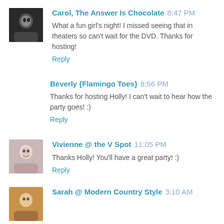Carol, The Answer Is Chocolate  8:47 PM
What a fun girl's night! I missed seeing that in theaters so can't wait for the DVD. Thanks for hosting!
Reply
Beverly {Flamingo Toes}  8:56 PM
Thanks for hosting Holly! I can't wait to hear how the party goes! :)
Reply
Vivienne @ the V Spot  11:05 PM
Thanks Holly! You'll have a great party! :)
Reply
Sarah @ Modern Country Style  3:10 AM